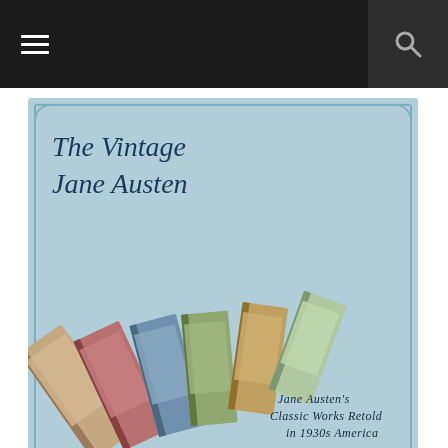Navigation bar with hamburger menu and search icon
[Figure (illustration): The Vintage Jane Austen book series advertisement. Blue denim-textured background with cursive title 'The Vintage Jane Austen', fanned display of vintage-style book covers, text 'Jane Austen's Classic Works Retold in 1930s America', URL www.vintagejaneausten.com]
POPULAR POSTS
[Figure (photo): Thumbnail image of handwritten letter with white flowers]
J is for John
John. He is one of my